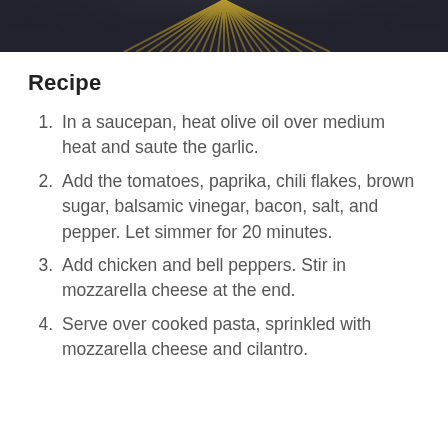[Figure (photo): Close-up photo of dry spaghetti pasta sticks fanned out against a dark background]
Recipe
In a saucepan, heat olive oil over medium heat and saute the garlic.
Add the tomatoes, paprika, chili flakes, brown sugar, balsamic vinegar, bacon, salt, and pepper. Let simmer for 20 minutes.
Add chicken and bell peppers. Stir in mozzarella cheese at the end.
Serve over cooked pasta, sprinkled with mozzarella cheese and cilantro.